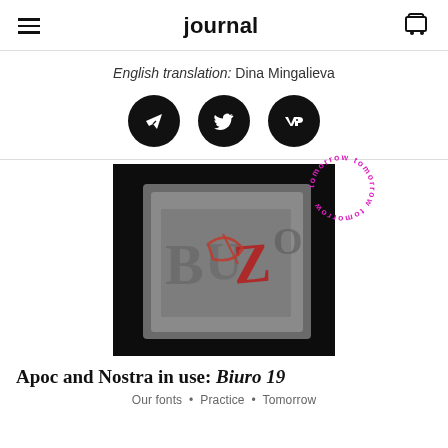journal
English translation: Dina Mingalieva
[Figure (illustration): Three black circular social media share buttons: Telegram, Twitter, VKontakte]
[Figure (photo): Close-up photo of a dark metallic book cover embossed with 'BIURO' text and a red signature/logo mark, with a circular 'tomorrow tomorrow tomorrow' badge in magenta overlapping the top-right corner]
Apoc and Nostra in use: Biuro 19
Our fonts • Practice • Tomorrow